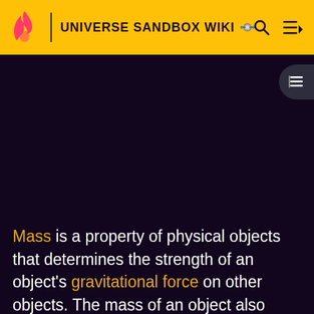UNIVERSE SANDBOX WIKI
[Figure (screenshot): Dark background content area of Universe Sandbox Wiki page, mostly black/dark purple]
Mass is a property of physical objects that determines the strength of an object's gravitational force on other objects. The mass of an object also determines how it will